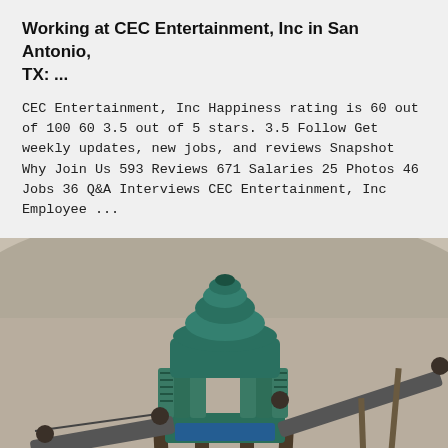Working at CEC Entertainment, Inc in San Antonio, TX: ...
CEC Entertainment, Inc Happiness rating is 60 out of 100 60 3.5 out of 5 stars. 3.5 Follow Get weekly updates, new jobs, and reviews Snapshot Why Join Us 593 Reviews 671 Salaries 25 Photos 46 Jobs 36 Q&A Interviews CEC Entertainment, Inc Employee ...
[Figure (photo): Photograph of a large green industrial cone crusher machine mounted on a metal frame structure at a quarry or mining site, with conveyor belts visible on either side and rocky terrain in the background.]